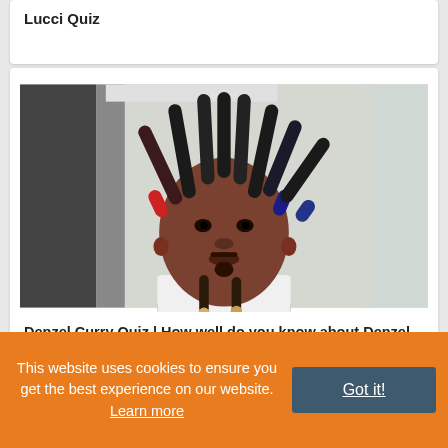Lucci Quiz
[Figure (photo): Portrait photo of Denzel Curry, a young Black man with colorful dreadlocks (red, black, blue tips) fanned out around his head, wearing a white shirt, against a light background.]
Denzel Curry Quiz | How well do you know about Denzel Curry Quiz
This website uses cookies to ensure you get the best experience on our website. Learn more